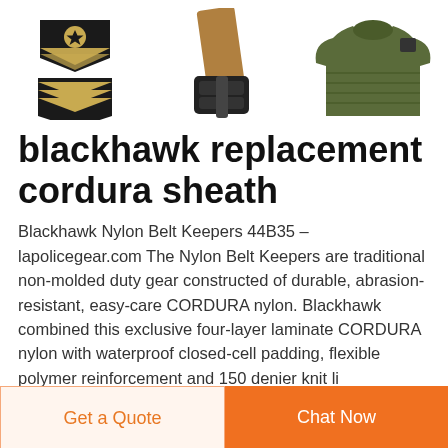[Figure (photo): Three product images side by side: military rank patches (gold chevrons and star on black), a tan/khaki duty belt, and an olive green military sweater]
blackhawk replacement cordura sheath
Blackhawk Nylon Belt Keepers 44B35 – lapolicegear.com The Nylon Belt Keepers are traditional non-molded duty gear constructed of durable, abrasion-resistant, easy-care CORDURA nylon. Blackhawk combined this exclusive four-layer laminate CORDURA nylon with waterprooof closed-cell padding, flexible polymer reinforcement and 150 denier knit lining.